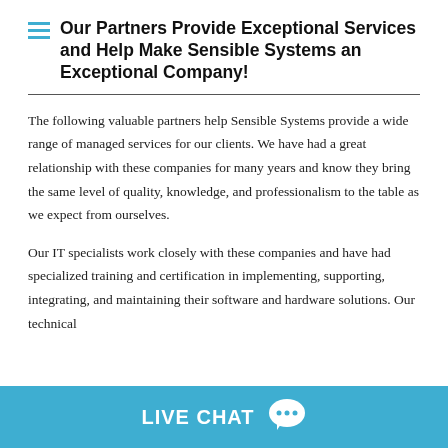Our Partners Provide Exceptional Services and Help Make Sensible Systems an Exceptional Company!
The following valuable partners help Sensible Systems provide a wide range of managed services for our clients. We have had a great relationship with these companies for many years and know they bring the same level of quality, knowledge, and professionalism to the table as we expect from ourselves.
Our IT specialists work closely with these companies and have had specialized training and certification in implementing, supporting, integrating, and maintaining their software and hardware solutions. Our technical
LIVE CHAT